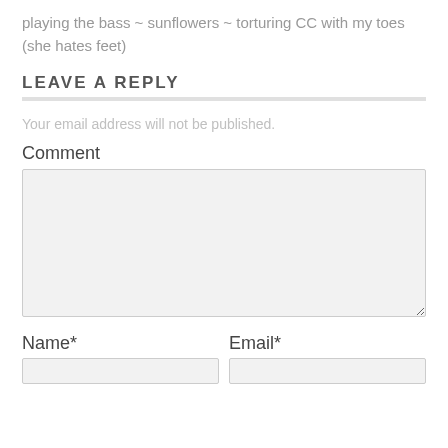playing the bass ~ sunflowers ~ torturing CC with my toes (she hates feet)
LEAVE A REPLY
Your email address will not be published.
Comment
Name*
Email*